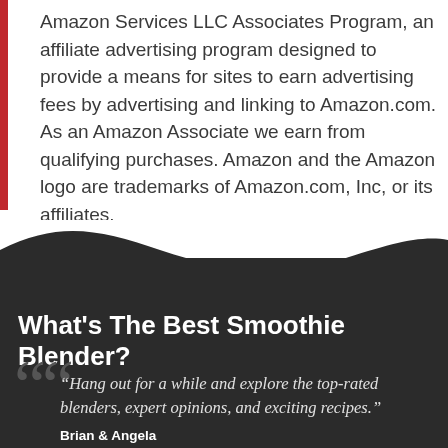Amazon Services LLC Associates Program, an affiliate advertising program designed to provide a means for sites to earn advertising fees by advertising and linking to Amazon.com. As an Amazon Associate we earn from qualifying purchases. Amazon and the Amazon logo are trademarks of Amazon.com, Inc, or its affiliates.
What's The Best Smoothie Blender?
“Hang out for a while and explore the top-rated blenders, expert opinions, and exciting recipes.”
Brian & Angela